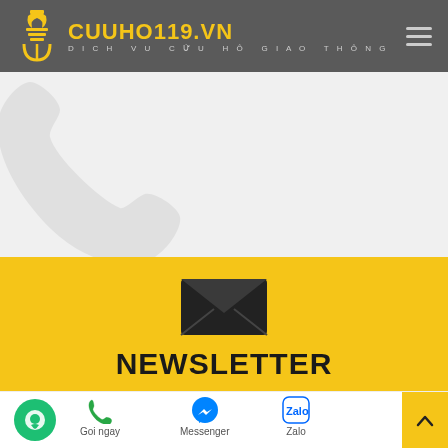[Figure (logo): CUUHO119.VN website header with logo, site name, tagline 'DICH VU CUU HO GIAO THONG', and hamburger menu]
[Figure (illustration): Large faded phone handset icon on light gray background]
[Figure (illustration): Yellow section with envelope/mail icon and NEWSLETTER text]
[Figure (illustration): Bottom navigation bar with chat bubble, Goi ngay (phone), Messenger, Zalo icons and scroll-to-top button]